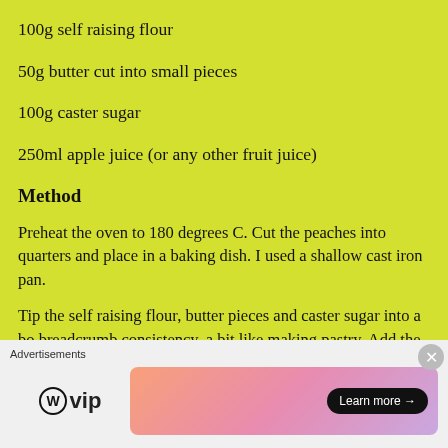100g self raising flour
50g butter cut into small pieces
100g caster sugar
250ml apple juice (or any other fruit juice)
Method
Preheat the oven to 180 degrees C. Cut the peaches into quarters and place in a baking dish. I used a shallow cast iron pan.
Tip the self raising flour, butter pieces and caster sugar into a bowl and rub to a breadcrumb consistency, a bit like making pastry. Add the apple juice and stir together. The mixture should look curdled, but that’s ok as you’re
Advertisements